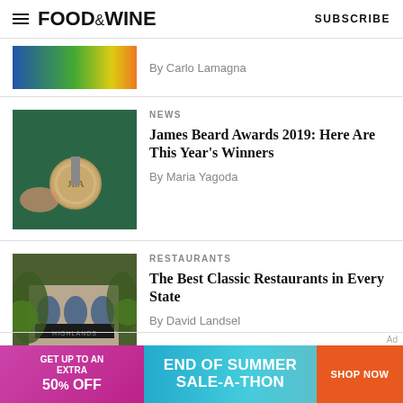FOOD & WINE    SUBSCRIBE
By Carlo Lamagna
NEWS
James Beard Awards 2019: Here Are This Year's Winners
By Maria Yagoda
RESTAURANTS
The Best Classic Restaurants in Every State
By David Landsel
[Figure (infographic): Advertisement banner: GET UP TO AN EXTRA 50% OFF | END OF SUMMER SALE-A-THON | SHOP NOW]